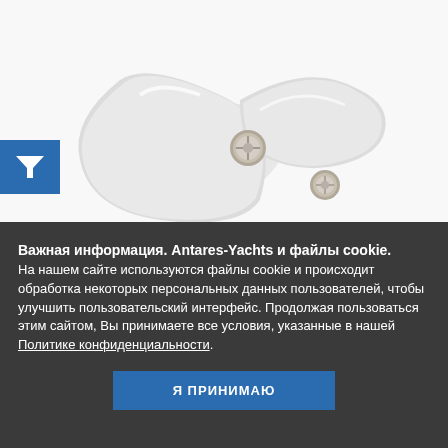[Figure (photo): Close-up photo of white yacht hardware/cleats with metal screws on a white background, with a blue filter button icon on the left side]
Важная информация. Antares-Yachts и файлы cookie. На нашем сайте используются файлы cookie и происходит обработка некоторых персональных данных пользователей, чтобы улучшить пользовательский интерфейс. Продолжая пользоваться этим сайтом, Вы принимаете все условия, указанные в нашей Политике конфиденциальности.
Я ПРИНИМАЮ